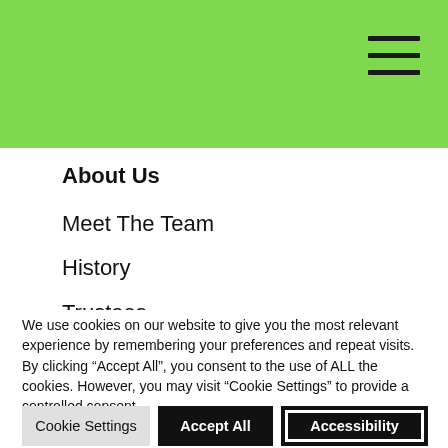[Figure (screenshot): Green navigation header bar with hamburger menu icon (three horizontal lines) in top right corner]
About Us
Meet The Team
History
Trustees
Funding
We use cookies on our website to give you the most relevant experience by remembering your preferences and repeat visits. By clicking “Accept All”, you consent to the use of ALL the cookies. However, you may visit "Cookie Settings" to provide a controlled consent.
Cookie Settings | Accept All | Accessibility